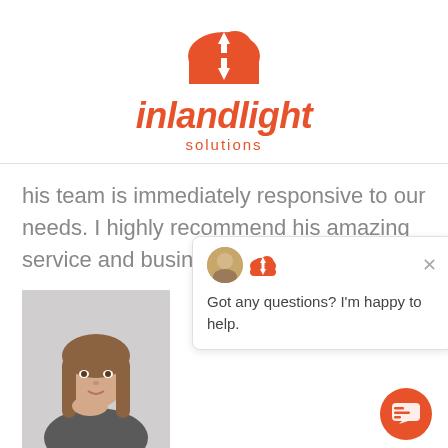[Figure (logo): Inlandlight Solutions logo: orange/red cloud with up-down arrows icon, bold italic 'inlandlight' text, 'solutions' subtitle in orange]
his team is immediately responsive to our needs. I highly recommend his amazing service and business ethics.
[Figure (photo): Portrait photo of a young woman with long brown hair, resting chin on hand, against light gray background]
[Figure (screenshot): Chat popup widget showing avatar and cloud icon, with text 'Got any questions? I'm happy to help.' and an X close button]
Erica Arrechea-Reimer | Cinqe.com / Millionaires Club